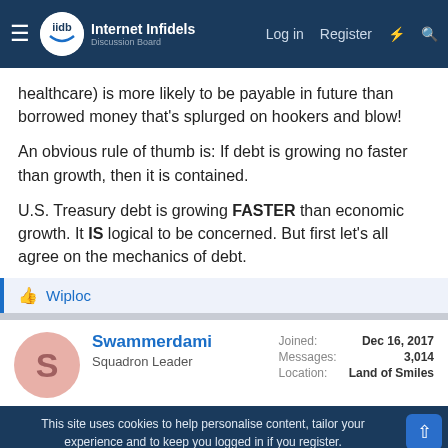Internet Infidels — Log in | Register
healthcare) is more likely to be payable in future than borrowed money that's splurged on hookers and blow!
An obvious rule of thumb is: If debt is growing no faster than growth, then it is contained.
U.S. Treasury debt is growing FASTER than economic growth. It IS logical to be concerned. But first let's all agree on the mechanics of debt.
👍 Wiploc
Swammerdami
Squadron Leader
Joined: Dec 16, 2017
Messages: 3,014
Location: Land of Smiles
This site uses cookies to help personalise content, tailor your experience and to keep you logged in if you register.
By continuing to use this site, you are consenting to our use of cookies.